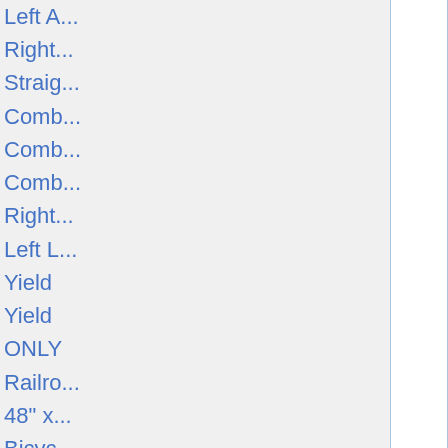|  |  | Swarco | Left A... |
|  |  |  | Right... |
|  |  |  | Straig... |
|  |  |  | Comb... |
|  |  |  | Comb... |
|  |  |  | Comb... |
|  |  |  | Right... |
|  |  |  | Left L... |
|  |  |  | Yield |
|  |  |  | Yield |
|  |  |  | ONLY |
|  |  |  | Railro... |
|  |  |  | 48" x... |
|  |  |  | Bicyc... |
|  |  |  | Bike |
|  |  |  | Bike |
|  |  |  | Shar... |
|  |  |  | Spee... |
|  |  |  | 2-Pan... |
|  |  |  | 2-Pan... |